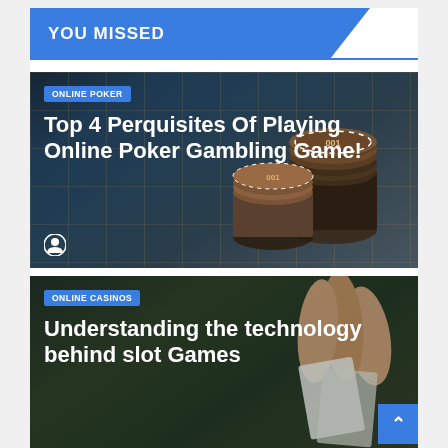YOU MISSED
[Figure (photo): Poker table with casino chips stacked in foreground on dark green felt with gold grid pattern]
ONLINE POKER
Top 4 Perquisites Of Playing Online Poker Gambling Game!
[Figure (photo): Hand holding playing cards near casino chips on a dark green felt table]
ONLINE CASINOS
Understanding the technology behind slot Games